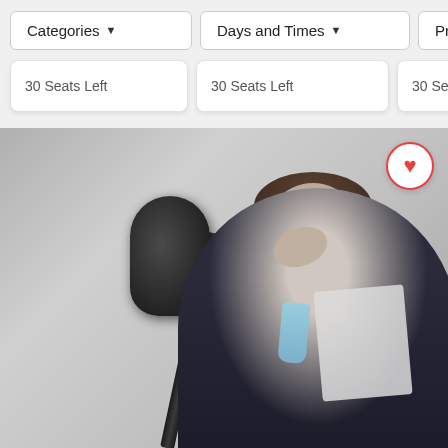Categories ▼
Days and Times ▼
Price
30 Seats Left
30 Seats Left
30 Seats
[Figure (photo): A man in a dark suit and light blue tie holds a piece of paper and touches his forehead with his hand, looking stressed or confused, standing near a microphone on a stand. Background is grey.]